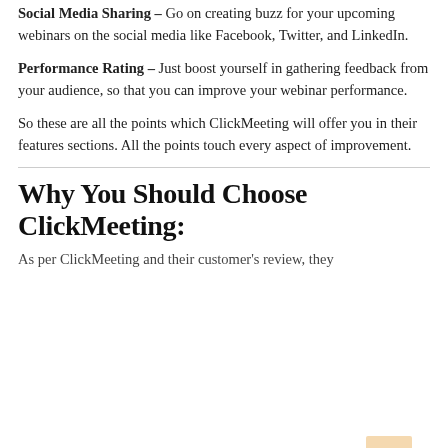Social Media Sharing – Go on creating buzz for your upcoming webinars on the social media like Facebook, Twitter, and LinkedIn.
Performance Rating – Just boost yourself in gathering feedback from your audience, so that you can improve your webinar performance.
So these are all the points which ClickMeeting will offer you in their features sections. All the points touch every aspect of improvement.
Why You Should Choose ClickMeeting:
As per ClickMeeting and their customer's review, they